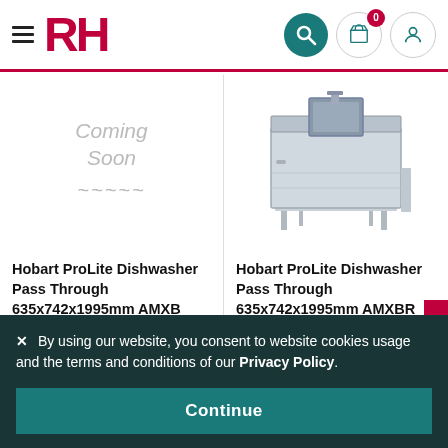RH - Header navigation with logo, search, basket (0 items), and user icon
[Figure (photo): Coming Soon placeholder image for Hobart ProLite Dishwasher Pass Through 635x742x1995mm AMXB]
Hobart ProLite Dishwasher Pass Through 635x742x1995mm AMXB
[Figure (photo): Product photo of Hobart ProLite Dishwasher Pass Through 635x742x1995mm AMXBR - stainless steel pass-through dishwasher]
Hobart ProLite Dishwasher Pass Through 635x742x1995mm AMXBR
Feedback
× By using our website, you consent to website cookies usage and the terms and conditions of our Privacy Policy.
Continue